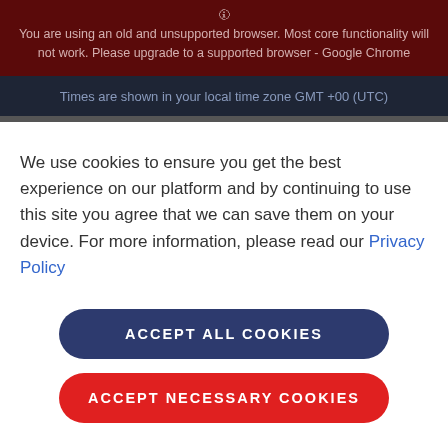You are using an old and unsupported browser. Most core functionality will not work. Please upgrade to a supported browser - Google Chrome
Times are shown in your local time zone GMT +00 (UTC)
We use cookies to ensure you get the best experience on our platform and by continuing to use this site you agree that we can save them on your device. For more information, please read our Privacy Policy
ACCEPT ALL COOKIES
ACCEPT NECESSARY COOKIES